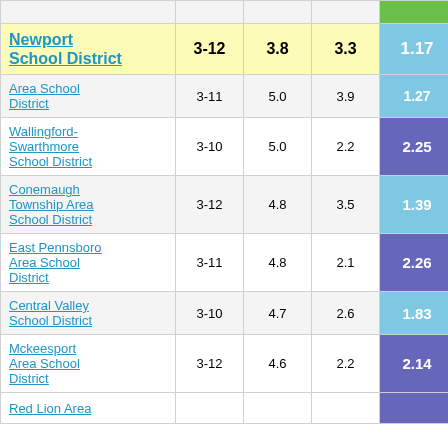| School District | Grades | Col3 | Col4 | Col5 |  |
| --- | --- | --- | --- | --- | --- |
| Newport School District | 3-12 | 3.8 | 3.3 | 1.17 | 3 |
| Area School District | 3-11 | 5.0 | 3.9 | 1.27 |  |
| Wallingford-Swarthmore School District | 3-10 | 5.0 | 2.2 | 2.25 |  |
| Conemaugh Township Area School District | 3-12 | 4.8 | 3.5 | 1.39 |  |
| East Pennsboro Area School District | 3-11 | 4.8 | 2.1 | 2.26 |  |
| Central Valley School District | 3-10 | 4.7 | 2.6 | 1.83 |  |
| Mckeesport Area School District | 3-12 | 4.6 | 2.2 | 2.14 |  |
| Red Lion Area... |  |  |  |  |  |